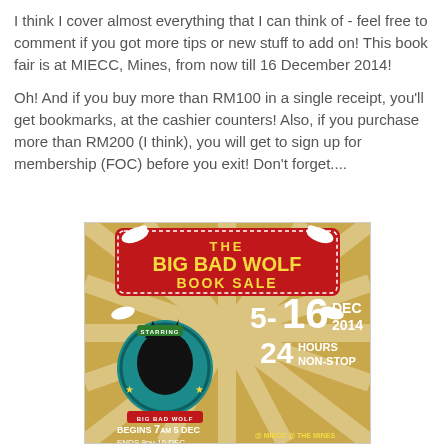I think I cover almost everything that I can think of - feel free to comment if you got more tips or new stuff to add on! This book fair is at MIECC, Mines, from now till 16 December 2014!
Oh! And if you buy more than RM100 in a single receipt, you'll get bookmarks, at the cashier counters! Also, if you purchase more than RM200 (I think), you will get to sign up for membership (FOC) before you exit! Don't forget....
[Figure (illustration): The Big Bad Wolf Book Sale promotional poster showing dates 5-16 Dec 2014, 24 hours non-stop, begins 7am 5 Dec, ends 9pm 16 Dec, at MIECC @ The Mines. Features a black wolf logo on teal circle background with sunburst pattern in gold/red festive design with dove birds.]